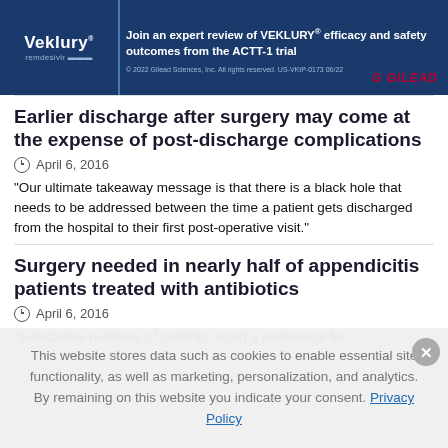[Figure (other): Veklury (remdesivir) advertisement banner by Gilead. Text: 'Join an expert review of VEKLURY efficacy and safety outcomes from the ACTT-1 trial'. Copyright 2022 Gilead Sciences.]
Earlier discharge after surgery may come at the expense of post-discharge complications
April 6, 2016
“Our ultimate takeaway message is that there is a black hole that needs to be addressed between the time a patient gets discharged from the hospital to their first post-operative visit.”
Surgery needed in nearly half of appendicitis patients treated with antibiotics
April 6, 2016
“Substantial numbers of patients report a preference for
This website stores data such as cookies to enable essential site functionality, as well as marketing, personalization, and analytics. By remaining on this website you indicate your consent. Privacy Policy